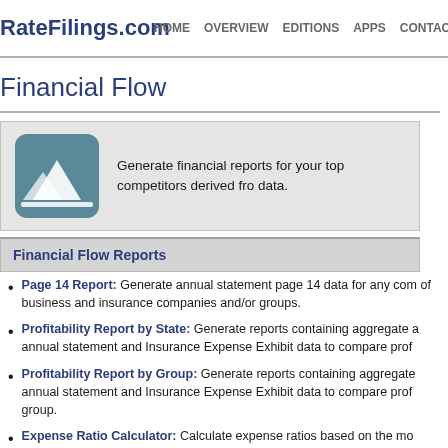RateFilings.com  HOME  OVERVIEW  EDITIONS  APPS  CONTACT U
Financial Flow
Generate financial reports for your top competitors derived from data.
Financial Flow Reports
Page 14 Report: Generate annual statement page 14 data for any company of business and insurance companies and/or groups.
Profitability Report by State: Generate reports containing aggregate annual statement and Insurance Expense Exhibit data to compare prof
Profitability Report by Group: Generate reports containing aggregate annual statement and Insurance Expense Exhibit data to compare prof group.
Expense Ratio Calculator: Calculate expense ratios based on the mo